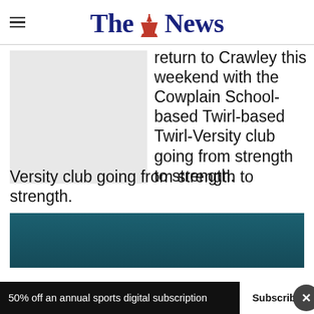The News
[Figure (photo): Gray placeholder image on the left side of the article]
return to Crawley this weekend with the Cowplain School-based Twirl-Versity club going from strength to strength.
[Figure (photo): Photo of a person in a gym with basketball hoop visible in background]
50% off an annual sports digital subscription
Subscribe